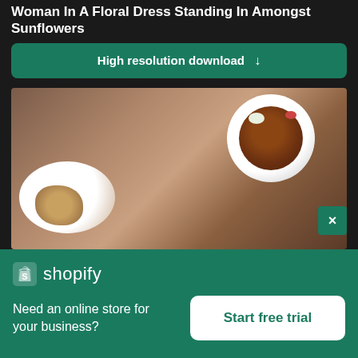Woman In A Floral Dress Standing In Amongst Sunflowers
High resolution download ↓
[Figure (photo): Overhead blurred photo of food bowls and plates on a wooden surface, showing a bowl of soup/stew with garnish on the right and a plate with bread on the left]
× (close button)
[Figure (logo): Shopify logo — shopping bag icon with letter S, followed by 'shopify' text in white]
Need an online store for your business?
Start free trial